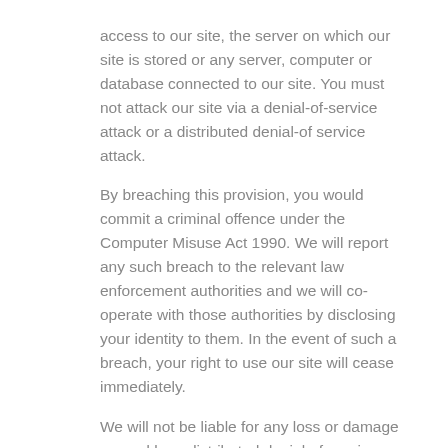access to our site, the server on which our site is stored or any server, computer or database connected to our site. You must not attack our site via a denial-of-service attack or a distributed denial-of service attack.
By breaching this provision, you would commit a criminal offence under the Computer Misuse Act 1990. We will report any such breach to the relevant law enforcement authorities and we will co-operate with those authorities by disclosing your identity to them. In the event of such a breach, your right to use our site will cease immediately.
We will not be liable for any loss or damage caused by a distributed denial-of-service attack, viruses or other technologically harmful material that may infect your computer equipment, computer programs, data or other proprietary material due to your use of our site or to your downloading of any material posted on it, or on any website linked to it.